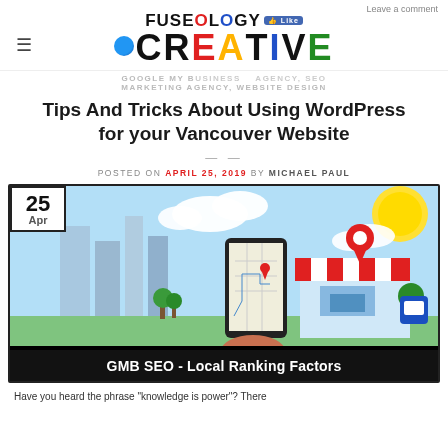Leave a comment
[Figure (logo): Fuseology Creative logo with colorful lettering and globe icon]
GOOGLE MY BUSINESS AGENCY, SEO MARKETING AGENCY, WEBSITE DESIGN
Tips And Tricks About Using WordPress for your Vancouver Website
POSTED ON APRIL 25, 2019 BY MICHAEL PAUL
[Figure (illustration): Blog featured image showing a local SEO illustration with a city skyline, a shop with a map pin location marker, a smartphone showing a map, and the caption 'GMB SEO - Local Ranking Factors'. A date badge shows 25 Apr.]
Have you heard the phrase “knowledge is power”? There